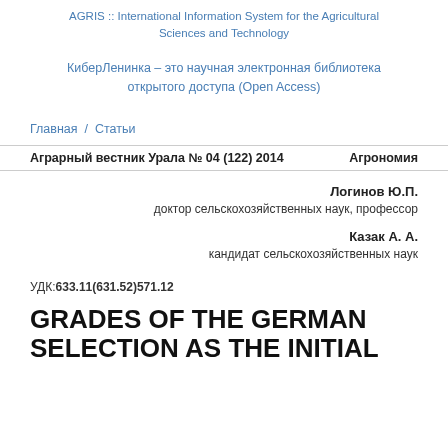AGRIS :: International Information System for the Agricultural Sciences and Technology
КиберЛенинка – это научная электронная библиотека открытого доступа (Open Access)
Главная / Статьи
Аграрный вестник Урала № 04 (122) 2014     Агрономия
Логинов Ю.П.
доктор сельскохозяйственных наук, профессор
Казак А. А.
кандидат сельскохозяйственных наук
УДК:633.11(631.52)571.12
GRADES OF THE GERMAN SELECTION AS THE INITIAL